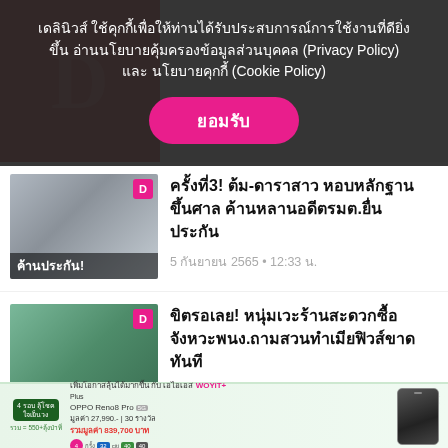เดลินิวส์ ใช้คุกกี้เพื่อให้ท่านได้รับประสบการณ์การใช้งานที่ดียิ่งขึ้น อ่านนโยบายคุ้มครองข้อมูลส่วนบุคคล (Privacy Policy) และ นโยบายคุกกี้ (Cookie Policy)
ยอมรับ
ครั้งที่3! ต้ม-ดาราสาว หอบหลักฐานขึ้นศาล ค้านหลานอดีตรมต.ยื่นประกัน
5 กันยายน 2565 • 12:33 น.
ขิตรอเลย! หนุ่มเวะร้านสะดวกซื้อจังหวะพนง.ถามสวนทำเมียฟิวส์ขาดทันที
5 กันยายน 2565 • 12:30 น.
[Figure (screenshot): Advertisement banner for AIS WOYI+ plan featuring OPPO Reno8 Pro with price 27,990 baht and lucky draw prize 839,700 baht]